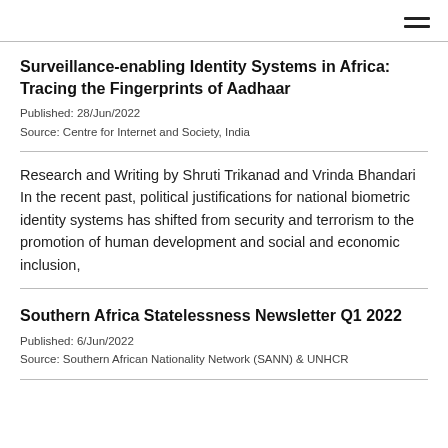≡
Surveillance-enabling Identity Systems in Africa: Tracing the Fingerprints of Aadhaar
Published: 28/Jun/2022
Source: Centre for Internet and Society, India
Research and Writing by Shruti Trikanad and Vrinda Bhandari In the recent past, political justifications for national biometric identity systems has shifted from security and terrorism to the promotion of human development and social and economic inclusion,
Southern Africa Statelessness Newsletter Q1 2022
Published: 6/Jun/2022
Source: Southern African Nationality Network (SANN) & UNHCR